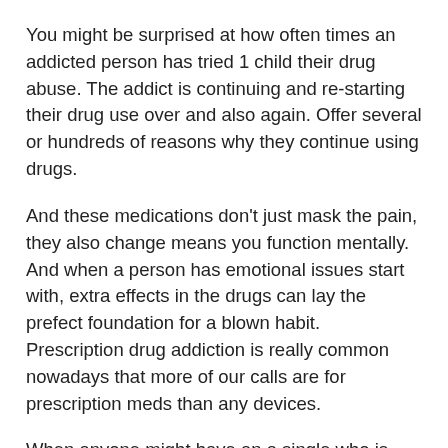You might be surprised at how often times an addicted person has tried 1 child their drug abuse. The addict is continuing and re-starting their drug use over and also again. Offer several or hundreds of reasons why they continue using drugs.
And these medications don't just mask the pain, they also change means you function mentally. And when a person has emotional issues start with, extra effects in the drugs can lay the prefect foundation for a blown habit. Prescription drug addiction is really common nowadays that more of our calls are for prescription meds than any devices.
When anyone might have an a single who is addicted to drugs or alcohol, may possibly tend to preach to him or